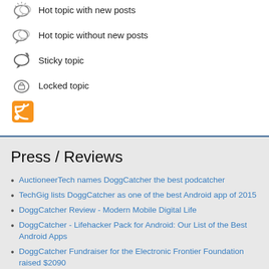Hot topic with new posts
Hot topic without new posts
Sticky topic
Locked topic
[Figure (logo): RSS feed orange icon]
Press / Reviews
AuctioneerTech names DoggCatcher the best podcatcher
TechGig lists DoggCatcher as one of the best Android app of 2015
DoggCatcher Review - Modern Mobile Digital Life
DoggCatcher - Lifehacker Pack for Android: Our List of the Best Android Apps
DoggCatcher Fundraiser for the Electronic Frontier Foundation raised $2090